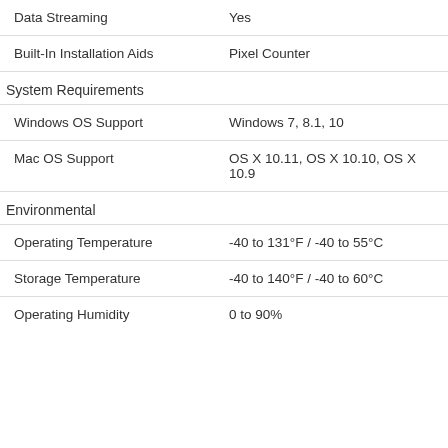| Feature | Value |
| --- | --- |
| Data Streaming | Yes |
| Built-In Installation Aids | Pixel Counter |
| System Requirements |  |
| Windows OS Support | Windows 7, 8.1, 10 |
| Mac OS Support | OS X 10.11, OS X 10.10, OS X 10.9 |
| Environmental |  |
| Operating Temperature | -40 to 131°F / -40 to 55°C |
| Storage Temperature | -40 to 140°F / -40 to 60°C |
| Operating Humidity | 0 to 90% |